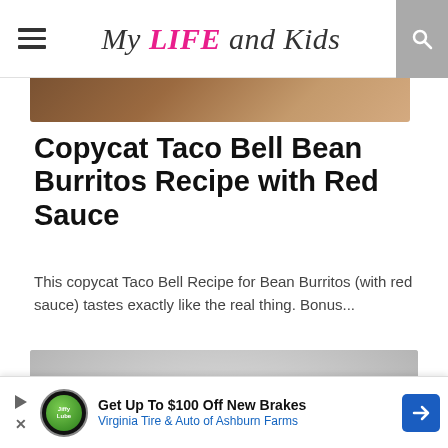My LIFE and Kids
[Figure (photo): Partial view of a food image at the top, brownish tones]
Copycat Taco Bell Bean Burritos Recipe with Red Sauce
This copycat Taco Bell Recipe for Bean Burritos (with red sauce) tastes exactly like the real thing. Bonus...
[Figure (photo): A hand holding a crunchy taco filled with shredded lettuce, diced tomatoes, cheese, against a light gray background]
Get Up To $100 Off New Brakes Virginia Tire & Auto of Ashburn Farms